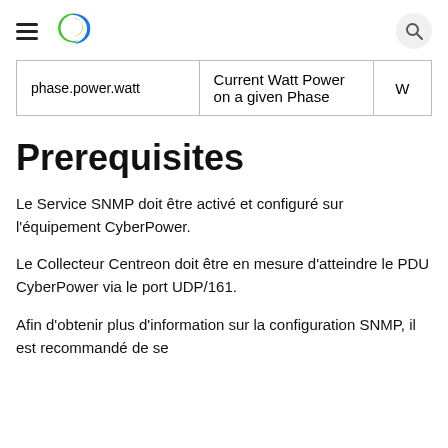Centreon logo and search button
| phase.power.watt | Current Watt Power on a given Phase | W |
Prerequisites
Le Service SNMP doit être activé et configuré sur l'équipement CyberPower.
Le Collecteur Centreon doit être en mesure d'atteindre le PDU CyberPower via le port UDP/161.
Afin d'obtenir plus d'information sur la configuration SNMP, il est recommandé de se